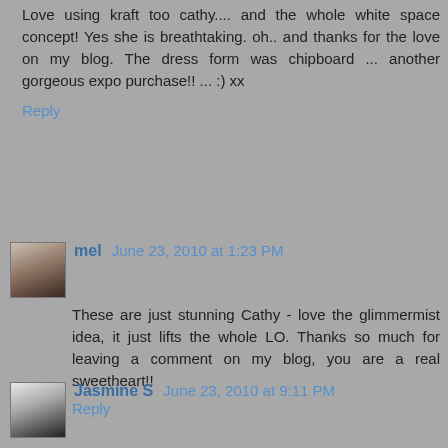Love using kraft too cathy.... and the whole white space concept! Yes she is breathtaking. oh.. and thanks for the love on my blog. The dress form was chipboard ... another gorgeous expo purchase!! ... :) xx
Reply
mel June 23, 2010 at 1:23 PM
These are just stunning Cathy - love the glimmermist idea, it just lifts the whole LO. Thanks so much for leaving a comment on my blog, you are a real sweetheart!!
Reply
Jasmine S June 23, 2010 at 9:11 PM
Just beautiful Cathy. The KIU LO is a standout. Beautiful
Reply